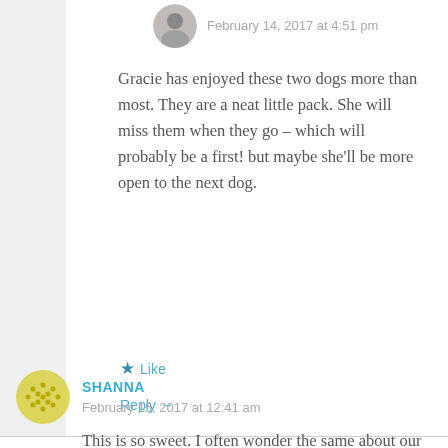February 14, 2017 at 4:51 pm
Gracie has enjoyed these two dogs more than most. They are a neat little pack. She will miss them when they go – which will probably be a first! but maybe she'll be more open to the next dog.
Like
Reply →
SHANNA
February 15, 2017 at 12:41 am
This is so sweet. I often wonder the same about our two rescues. I'm still amazed at how willing to trust